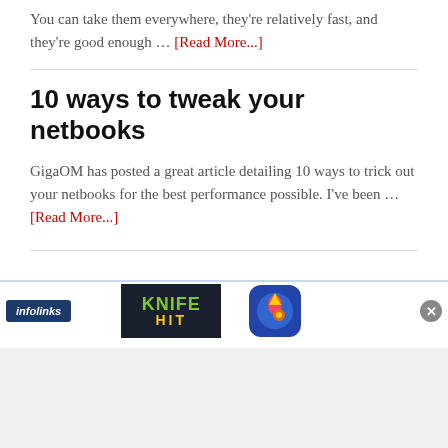You can take them everywhere, they're relatively fast, and they're good enough … [Read More...]
10 ways to tweak your netbooks
GigaOM has posted a great article detailing 10 ways to trick out your netbooks for the best performance possible. I've been … [Read More...]
[Figure (screenshot): Infolinks advertisement bar at the bottom containing a dark-themed 'KNIFE HIT' game ad image and a rocket/fireworks app icon, with a close button (x) and infolinks badge.]